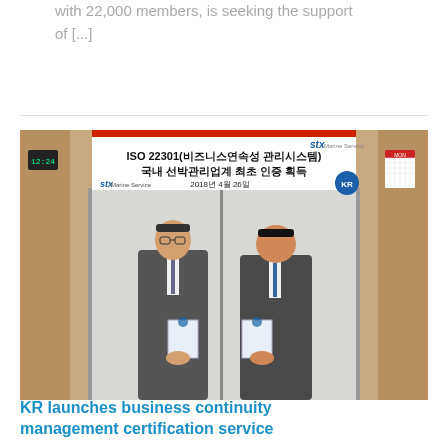with 22,000 members, is seeking the support of [...]
[Figure (photo): Two men in suits holding ISO 22301 certification documents in front of a banner reading 'ISO 22301(비즈니스연속성 관리시스템) 국내 선박관리업계 최초 인증 획득' with STX Marine Service and KR logos, dated 2018년 4월 26일]
KR launches business continuity management certification service